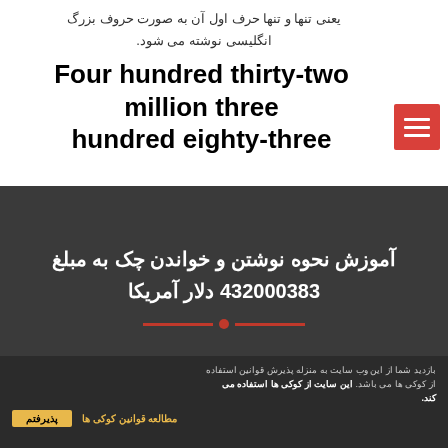یعنی تنها و تنها حرف اول آن به صورت حروف بزرگ انگلیسی نوشته می شود.
Four hundred thirty-two million three hundred eighty-three
آموزش نحوه نوشتن و خواندن چک به مبلغ 432000383 دلار آمریکا
بازدید شما از این وب سایت به منزله پذیرش قوانین استفاده از کوکی ها می باشد. این سایت از کوکی ها استفاده می کند.
مطالعه قوانین کوکی ها
پذیرفتم